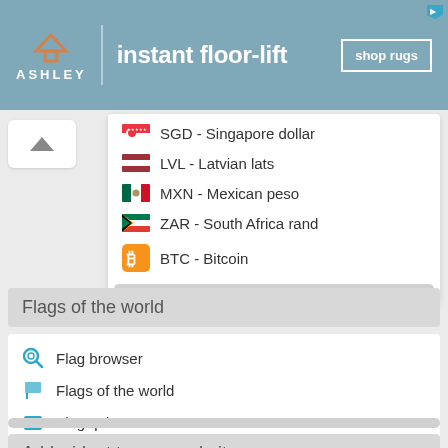[Figure (illustration): Ashley furniture ad banner with house logo, 'instant floor-lift' text, and 'shop rugs' button on teal background]
SGD - Singapore dollar
LVL - Latvian lats
MXN - Mexican peso
ZAR - South Africa rand
BTC - Bitcoin
Flags of the world
Flag browser
Flags of the world
Flag quiz
Add widget to your website
Add the currency converter to your website